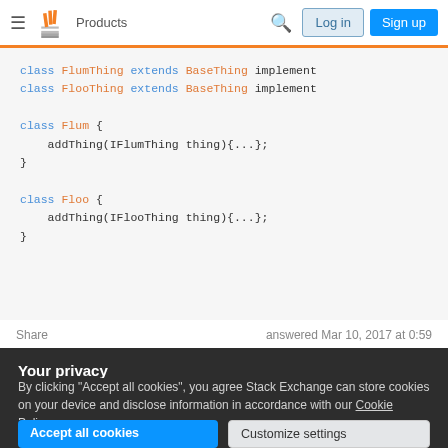≡ [Stack Overflow logo] Products 🔍 Log in Sign up
[Figure (screenshot): Code block on light grey background showing Java class definitions: FlumThing extends BaseThing implements..., FlooThing extends BaseThing implements..., class Flum { addThing(IFlumThing thing){...}; }, class Floo { addThing(IFlooThing thing){...}; }]
Share    answered Mar 10, 2017 at 0:59
Your privacy
By clicking "Accept all cookies", you agree Stack Exchange can store cookies on your device and disclose information in accordance with our Cookie Policy.
Accept all cookies    Customize settings